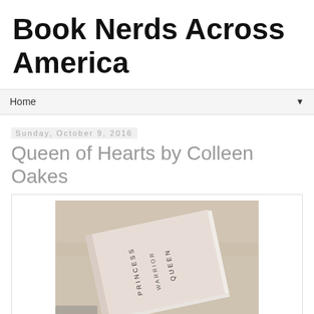Book Nerds Across America
Home
Sunday, October 9, 2016
Queen of Hearts by Colleen Oakes
[Figure (photo): Photo of a book lying on a beige fabric surface. The book's spine shows three words stacked: PRINCESS, WARRIOR, QUEEN in small spaced lettering. The cover is pale pink/white.]